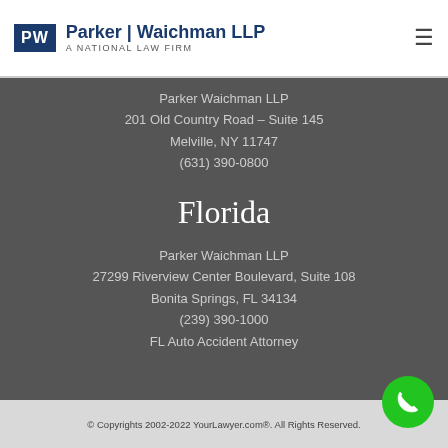Parker Waichman LLP A NATIONAL LAW FIRM
Parker Waichman LLP
201 Old Country Road – Suite 145
Melville, NY 11747
(631) 390-0800
Florida
Parker Waichman LLP
27299 Riverview Center Boulevard, Suite 108
Bonita Springs, FL 34134
(239) 390-1000
FL Auto Accident Attorney
© Copyrights 2002-2022 YourLawyer.com®. All Rights Reserved.